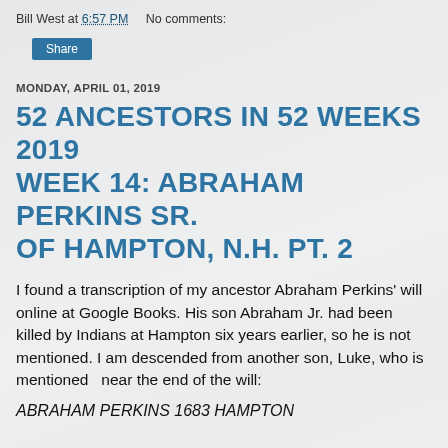Bill West at 6:57 PM   No comments:
Share
MONDAY, APRIL 01, 2019
52 ANCESTORS IN 52 WEEKS 2019 WEEK 14: ABRAHAM PERKINS SR. OF HAMPTON, N.H. PT. 2
I found a transcription of my ancestor Abraham Perkins' will online at Google Books. His son Abraham Jr. had been killed by Indians at Hampton six years earlier, so he is not mentioned. I am descended from another son, Luke, who is mentioned  near the end of the will:
ABRAHAM PERKINS 1683 HAMPTON